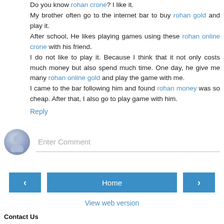Do you know rohan crone? I like it. My brother often go to the internet bar to buy rohan gold and play it. After school, He likes playing games using these rohan online crone with his friend. I do not like to play it. Because I think that it not only costs much money but also spend much time. One day, he give me many rohan online gold and play the game with me. I came to the bar following him and found rohan money was so cheap. After that, I also go to play game with him.
Reply
Enter Comment
Home
View web version
Contact Us